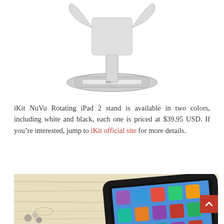[Figure (photo): iKit NuVu Rotating iPad 2 stand product photo on white background — white plastic stand with oval base and curved arm]
iKit NuVu Rotating iPad 2 stand is available in two colors, including white and black, each one is priced at $39.95 USD. If you're interested, jump to iKit official site for more details.
[Figure (photo): iPad 2 with black case lying flat on a light wood surface with small pebbles visible in the lower left corner]